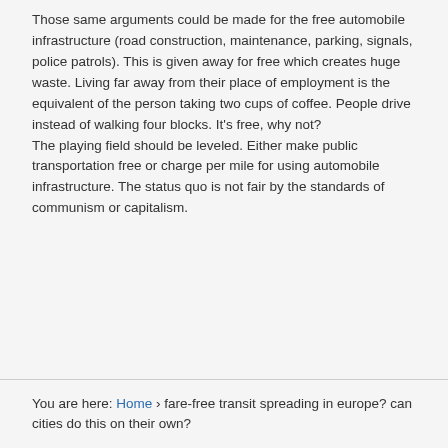Those same arguments could be made for the free automobile infrastructure (road construction, maintenance, parking, signals, police patrols). This is given away for free which creates huge waste. Living far away from their place of employment is the equivalent of the person taking two cups of coffee. People drive instead of walking four blocks. It's free, why not? The playing field should be leveled. Either make public transportation free or charge per mile for using automobile infrastructure. The status quo is not fair by the standards of communism or capitalism.
You are here: Home › fare-free transit spreading in europe? can cities do this on their own?